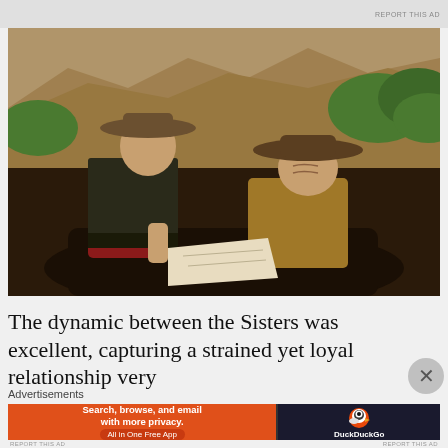[Figure (photo): Two men in western/period costumes on horseback looking at a map, with rocky hills and trees in the background. One man wears a red shirt with dark vest and wide-brimmed hat; the other wears a tan/khaki shirt with a darker wide-brimmed hat.]
The dynamic between the Sisters was excellent, capturing a strained yet loyal relationship very
Advertisements
[Figure (screenshot): DuckDuckGo advertisement banner: orange section reading 'Search, browse, and email with more privacy. All in One Free App' and dark section with DuckDuckGo duck logo and name.]